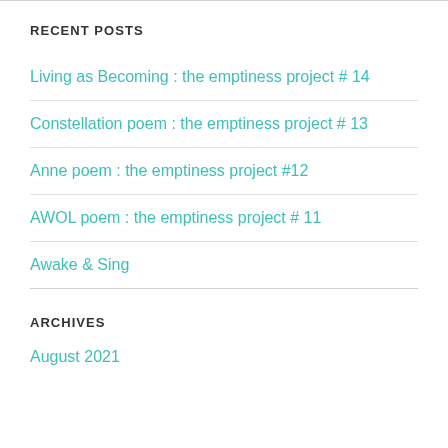RECENT POSTS
Living as Becoming : the emptiness project # 14
Constellation poem : the emptiness project # 13
Anne poem : the emptiness project #12
AWOL poem : the emptiness project # 11
Awake & Sing
ARCHIVES
August 2021